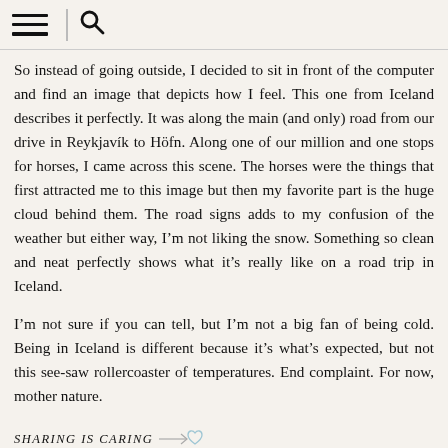[hamburger menu icon] [search icon]
So instead of going outside, I decided to sit in front of the computer and find an image that depicts how I feel. This one from Iceland describes it perfectly. It was along the main (and only) road from our drive in Reykjavík to Höfn. Along one of our million and one stops for horses, I came across this scene. The horses were the things that first attracted me to this image but then my favorite part is the huge cloud behind them. The road signs adds to my confusion of the weather but either way, I'm not liking the snow. Something so clean and neat perfectly shows what it's really like on a road trip in Iceland.
I'm not sure if you can tell, but I'm not a big fan of being cold. Being in Iceland is different because it's what's expected, but not this see-saw rollercoaster of temperatures. End complaint. For now, mother nature.
SHARING IS CARING
SEE SIMILAR PICS +
COMMENTS 0